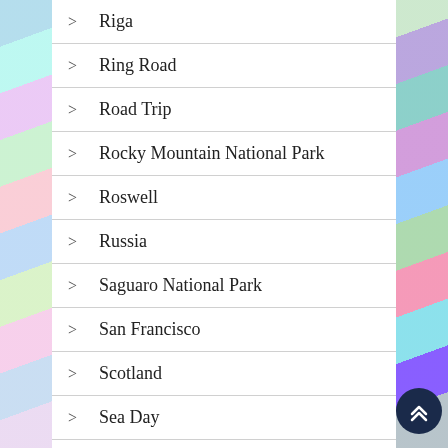Riga
Ring Road
Road Trip
Rocky Mountain National Park
Roswell
Russia
Saguaro National Park
San Francisco
Scotland
Sea Day